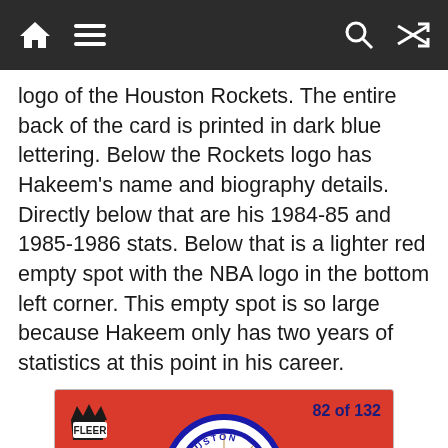[navigation bar with home, menu, search, shuffle icons]
logo of the Houston Rockets. The entire back of the card is printed in dark blue lettering. Below the Rockets logo has Hakeem's name and biography details. Directly below that are his 1984-85 and 1985-1986 stats. Below that is a lighter red empty spot with the NBA logo in the bottom left corner. This empty spot is so large because Hakeem only has two years of statistics at this point in his career.
[Figure (photo): Back of a 1986 Fleer basketball card for Akeem Olajuwon, number 82 of 132. The card features a red section with the Houston Rockets circular logo and the Fleer logo badge in the upper left. The bottom cream/beige section shows the player name AKEEM OLAJUWON in bold blue letters and biographical details: BORN: 1/23/63 • HEIGHT: 7'0" • WEIGHT: 250]